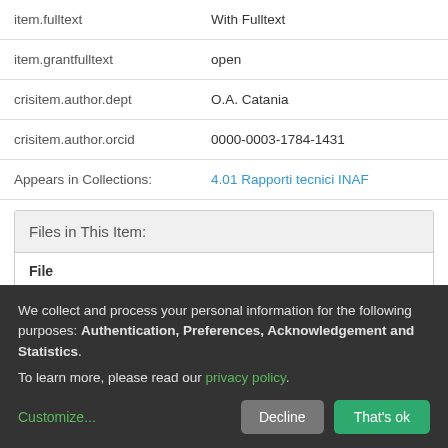| Field | Value |
| --- | --- |
| item.fulltext | With Fulltext |
| item.grantfulltext | open |
| crisitem.author.dept | O.A. Catania |
| crisitem.author.orcid | 0000-0003-1784-1431 |
| Appears in Collections: | 4.01 Rapporti tecnici INAF |
Files in This Item:
| File |
| --- |
We collect and process your personal information for the following purposes: Authentication, Preferences, Acknowledgement and Statistics. To learn more, please read our privacy policy.